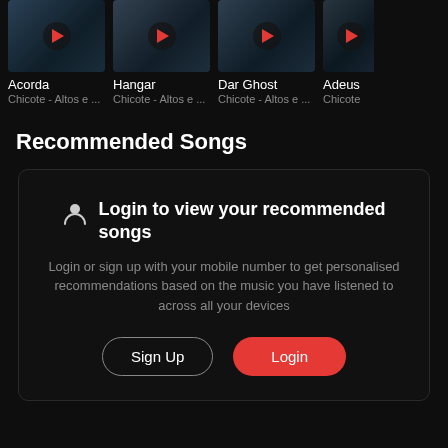[Figure (screenshot): Horizontal scrollable list of album thumbnails with play buttons. Four song cards visible: Acorda, Hangar, Dar Ghost, Adeus (partially clipped). Each card shows a thumbnail image with a red play button overlay, song title in white, and subtitle 'Chicote - Altos e ...' in grey.]
Recommended Songs
Login to view your recommended songs
Login or sign up with your mobile number to get personalised recommendations based on the music you have listened to across all your devices